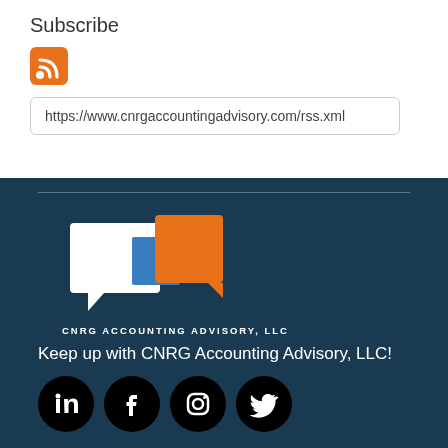Subscribe
[Figure (logo): RSS feed icon (orange with white wifi-like signal lines)]
https://www.cnrgaccountingadvisory.com/rss.xml
[Figure (logo): CNRG Accounting Advisory, LLC logo with speech bubble shapes in white, blue, and orange, on dark teal background]
Keep up with CNRG Accounting Advisory, LLC!
[Figure (infographic): Row of four social media icons (LinkedIn, Facebook, Instagram, Twitter) as white icons on black circles]